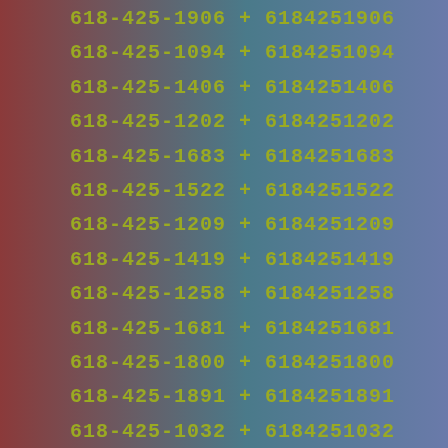618-425-1906 + 6184251906
618-425-1094 + 6184251094
618-425-1406 + 6184251406
618-425-1202 + 6184251202
618-425-1683 + 6184251683
618-425-1522 + 6184251522
618-425-1209 + 6184251209
618-425-1419 + 6184251419
618-425-1258 + 6184251258
618-425-1681 + 6184251681
618-425-1800 + 6184251800
618-425-1891 + 6184251891
618-425-1032 + 6184251032
618-425-1983 + 6184251983
618-425-1334 + 6184251334
618-425-1838 + 6184251838
618-425-1925 + 6184251925
618-425-1771 + 6184251771
618-425-1457 + 6184251457
618-425-1711 + 6184251711
618-425-1867 + 6184251867
618-425-1033 + 6184251033
618-425-1229 + 6184251229